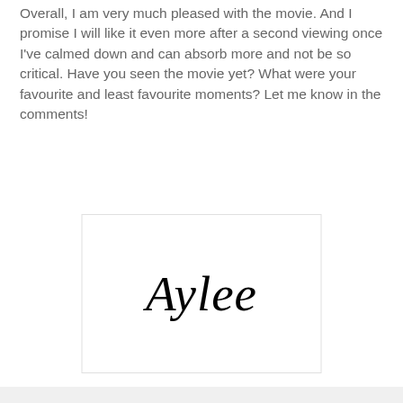Overall, I am very much pleased with the movie. And I promise I will like it even more after a second viewing once I've calmed down and can absorb more and not be so critical. Have you seen the movie yet? What were your favourite and least favourite moments? Let me know in the comments!
[Figure (illustration): Cursive signature reading 'Aylee' in elegant italic script on a white background with a light border]
Aylee at 12:01 AM
Share
28 comments:
Jillian July 18, 2011 at 1:09 AM
Okay.. I could totally just copy and paste this exact post and claim it as my own because I agree with everything you just said. I've decided not towrite a review for it though